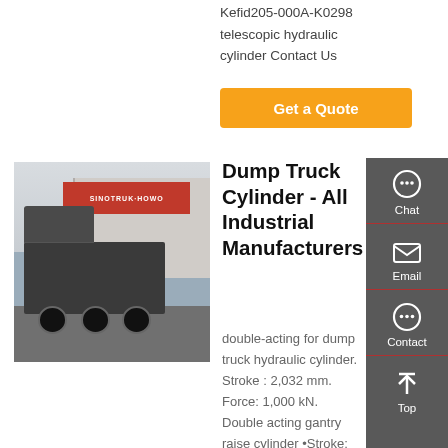Kefid205-000A-K0298 telescopic hydraulic cylinder Contact Us
[Figure (other): Orange 'Get a Quote' button]
[Figure (photo): Rear view of a HOWO dump truck in a parking lot in front of a dealership building with red signage]
Dump Truck Cylinder - All Industrial Manufacturers
double-acting for dump truck hydraulic cylinder. Stroke : 2,032 mm. Force: 1,000 kN. Double acting gantry raise cylinder •Stroke: up to 2,032 mm •Capacity: up to 100 t •Pressure:
[Figure (other): Right sidebar with Chat, Email, Contact, and Top navigation buttons on a dark gray background]